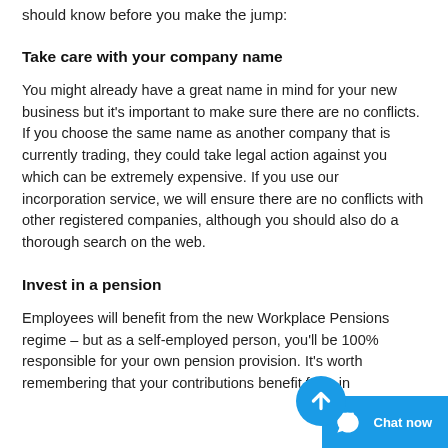should know before you make the jump:
Take care with your company name
You might already have a great name in mind for your new business but it's important to make sure there are no conflicts. If you choose the same name as another company that is currently trading, they could take legal action against you which can be extremely expensive. If you use our incorporation service, we will ensure there are no conflicts with other registered companies, although you should also do a thorough search on the web.
Invest in a pension
Employees will benefit from the new Workplace Pensions regime – but as a self-employed person, you'll be 100% responsible for your own pension provision. It's worth remembering that your contributions benefit from in